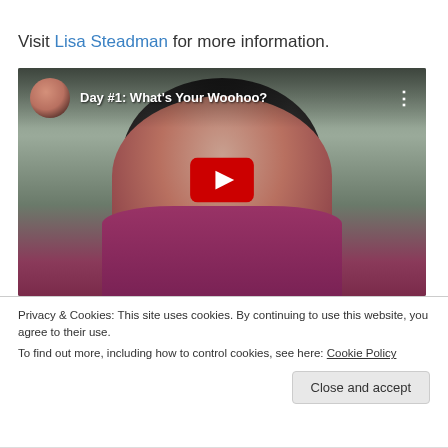Visit Lisa Steadman for more information.
[Figure (screenshot): YouTube video thumbnail showing a woman with dark hair wearing a magenta jacket, with channel avatar and title 'Day #1: What's Your Woohoo?' and a red YouTube play button in the center.]
Privacy & Cookies: This site uses cookies. By continuing to use this website, you agree to their use.
To find out more, including how to control cookies, see here: Cookie Policy
Close and accept